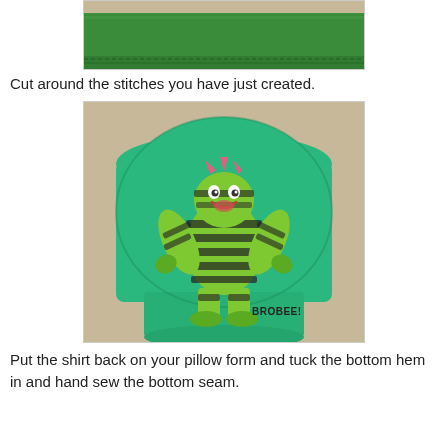[Figure (photo): Top portion of a green t-shirt laid flat, showing the bottom hem area on a light background.]
Cut around the stitches you have just created.
[Figure (photo): A green t-shirt stuffed and shaped like a pillow, featuring a printed cartoon character 'Brobee' from Yo Gabba Gabba — a green and black striped fuzzy monster with pink horns. The shirt bottom is tucked under, lying on a beige surface.]
Put the shirt back on your pillow form and tuck the bottom hem in and hand sew the bottom seam.